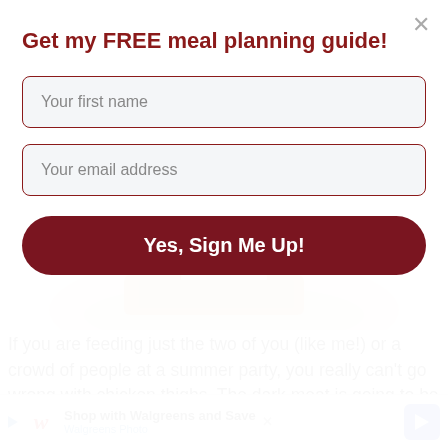Get my FREE meal planning guide!
Your first name
Your email address
Yes, Sign Me Up!
[Figure (photo): Partial photo of a plate with cooked chicken on a white plate]
If you are feeding just the two of you (like me!) or a crowd of people at a summer party, you really can't go wrong with chicken thighs. The dark meat is going to be more tender and juicy than a chicken breast, and you'll save lots of dough too!! Chicken thighs are much more economical. They are just better all around IMHO. I have jumped on the chicken thigh bandwagon and am never getting tired of it. I really can't
[Figure (screenshot): Walgreens ad banner: Shop with Walgreens and Save - Walgreens Photo]